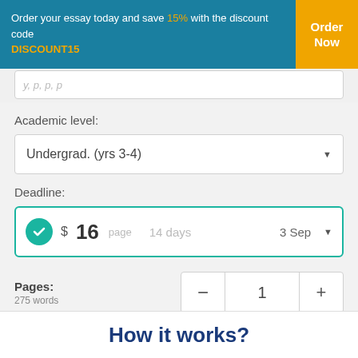Order your essay today and save 15% with the discount code DISCOUNT15
Academic level:
Undergrad. (yrs 3-4)
Deadline:
$16 page  14 days  3 Sep
Pages:
275 words
Total price: $16
CONTINUE TO ORDER
How it works?